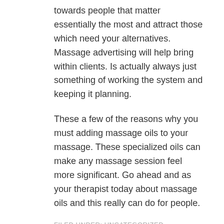towards people that matter essentially the most and attract those which need your alternatives. Massage advertising will help bring within clients. Is actually always just something of working the system and keeping it planning.
These a few of the reasons why you must adding massage oils to your massage. These specialized oils can make any massage session feel more significant. Go ahead and as your therapist today about massage oils and this really can do for people.
FILED UNDER: UNCATEGORIZED